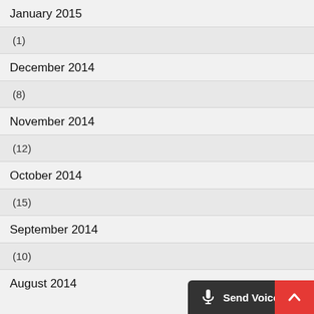January 2015
(1)
December 2014
(8)
November 2014
(12)
October 2014
(15)
September 2014
(10)
August 2014
[Figure (screenshot): Send Voicemail button bar at bottom of screen with red up-arrow button]